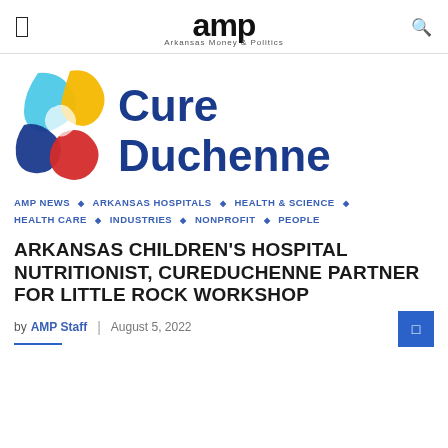amp Arkansas Money & Politics
[Figure (logo): CureDuchenne logo with colorful ribbon/DNA strand icon and bold blue 'Cure Duchenne' text]
AMP NEWS ◇ ARKANSAS HOSPITALS ◇ HEALTH & SCIENCE ◇ HEALTH CARE ◇ INDUSTRIES ◇ NONPROFIT ◇ PEOPLE
ARKANSAS CHILDREN'S HOSPITAL NUTRITIONIST, CUREDUCHENNE PARTNER FOR LITTLE ROCK WORKSHOP
by AMP Staff | August 5, 2022